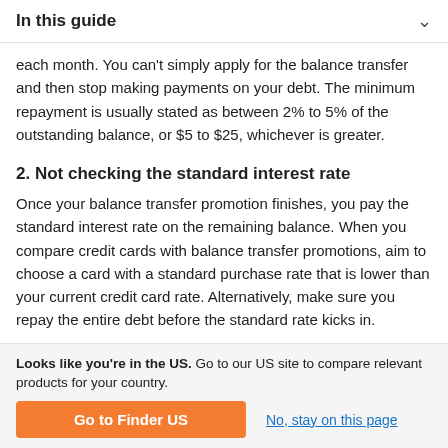In this guide
each month. You can't simply apply for the balance transfer and then stop making payments on your debt. The minimum repayment is usually stated as between 2% to 5% of the outstanding balance, or $5 to $25, whichever is greater.
2. Not checking the standard interest rate
Once your balance transfer promotion finishes, you pay the standard interest rate on the remaining balance. When you compare credit cards with balance transfer promotions, aim to choose a card with a standard purchase rate that is lower than your current credit card rate. Alternatively, make sure you repay the entire debt before the standard rate kicks in.
Looks like you're in the US. Go to our US site to compare relevant products for your country.
Go to Finder US
No, stay on this page